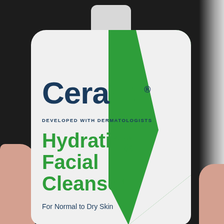[Figure (photo): A hand holding a CeraVe Hydrating Facial Cleanser bottle against a dark background with bright light on the right side. The white bottle features the CeraVe logo in navy blue with a large green diagonal chevron/arrow design on the right side. The label reads: CeraVe, DEVELOPED WITH DERMATOLOGISTS, Hydrating Facial Cleanser, For Normal to Dry Skin.]